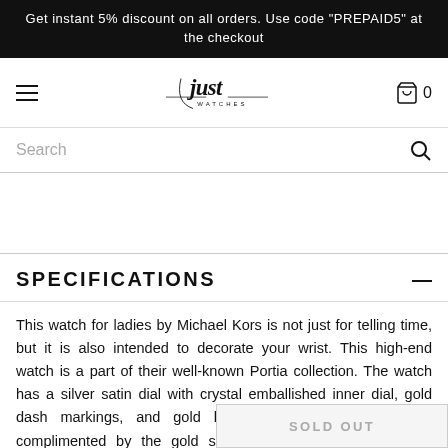Get instant 5% discount on all orders. Use code "PREPAID5" at the checkout
[Figure (logo): Just Watches script logo with horizontal rules]
Search
SPECIFICATIONS
This watch for ladies by Michael Kors is not just for telling time, but it is also intended to decorate your wrist. This high-end watch is a part of their well-known Portia collection. The watch has a silver satin dial with crystal emballished inner dial, gold dash markings, and gold hands. The dial is beautifully complimented by the gold stainless steel case. The watch comes with a simple brown leather
SOLD OUT